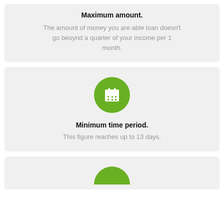Maximum amount.
The amount of money you are able loan doesn't go beoynd a quarter of your income per 1 month.
[Figure (illustration): Green circle with white calendar icon]
Minimum time period.
This figure reaches up to 13 days.
[Figure (illustration): Partially visible green circle at bottom of page]